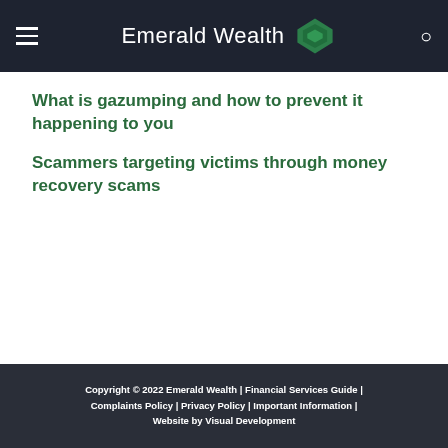Emerald Wealth
What is gazumping and how to prevent it happening to you
Scammers targeting victims through money recovery scams
Copyright © 2022 Emerald Wealth | Financial Services Guide | Complaints Policy | Privacy Policy | Important Information | Website by Visual Development